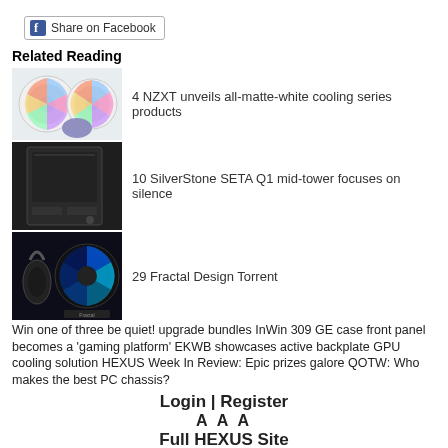[Figure (illustration): Facebook Share button with blue Facebook icon and text 'Share on Facebook']
Related Reading
[Figure (photo): NZXT white cooling series products with RGB fans]
4 NZXT unveils all-matte-white cooling series products
[Figure (photo): SilverStone SETA Q1 mid-tower case, black]
10 SilverStone SETA Q1 mid-tower focuses on silence
[Figure (photo): Fractal Design Torrent case with headphones and RGB fans]
29 Fractal Design Torrent
Win one of three be quiet! upgrade bundles InWin 309 GE case front panel becomes a 'gaming platform' EKWB showcases active backplate GPU cooling solution HEXUS Week In Review: Epic prizes galore QOTW: Who makes the best PC chassis?
Login | Register
A A A
Full HEXUS Site
About Us - Contact Us - Advertise - T&Cs